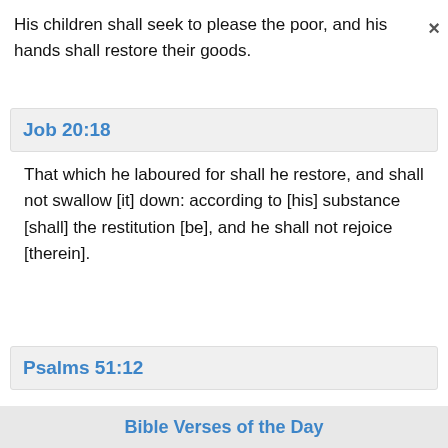His children shall seek to please the poor, and his hands shall restore their goods.
Job 20:18
That which he laboured for shall he restore, and shall not swallow [it] down: according to [his] substance [shall] the restitution [be], and he shall not rejoice [therein].
Psalms 51:12
Restore unto me the joy of thy salvation; and
Bible Verses of the Day